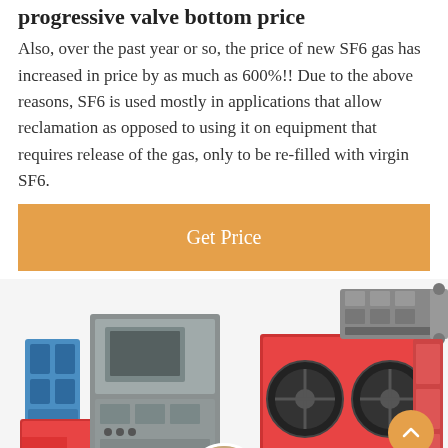progressive valve bottom price
Also, over the past year or so, the price of new SF6 gas has increased in price by as much as 600%!! Due to the above reasons, SF6 is used mostly in applications that allow reclamation as opposed to using it on equipment that requires release of the gas, only to be re-filled with virgin SF6.
[Figure (other): Orange 'Get Price' button]
[Figure (photo): Industrial SF6 gas reclamation machine with blue compressors on left, gray control cabinet in center, and red-framed unit with large fan wheels on the right]
[Figure (other): Bottom navigation bar with 'Leave Message' on left, customer service avatar in center, and 'Chat Online' on right]